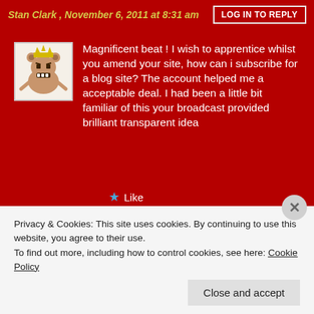Stan Clark , November 6, 2011 at 8:31 am
LOG IN TO REPLY
[Figure (illustration): Small cartoon avatar of a brown bear-like creature with a crown and big teeth on a light background]
Magnificent beat ! I wish to apprentice whilst you amend your site, how can i subscribe for a blog site? The account helped me a acceptable deal. I had been a little bit familiar of this your broadcast provided brilliant transparent idea
Like
Meditation , November 6, 2011 at 2:52 am
LOG IN TO REPLY
Privacy & Cookies: This site uses cookies. By continuing to use this website, you agree to their use.
To find out more, including how to control cookies, see here: Cookie Policy
Close and accept